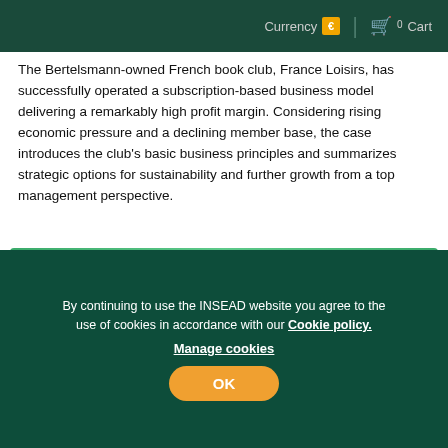Currency € | 0 Cart
The Bertelsmann-owned French book club, France Loisirs, has successfully operated a subscription-based business model delivering a remarkably high profit margin. Considering rising economic pressure and a declining member base, the case introduces the club's basic business principles and summarizes strategic options for sustainability and further growth from a top management perspective.
View case
Reshaping the Book Industry or Back to Basics? (B) The Case of France Loisirs
By continuing to use the INSEAD website you agree to the use of cookies in accordance with our Cookie policy. Manage cookies
OK